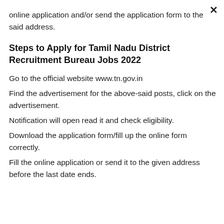online application and/or send the application form to the said address.
Steps to Apply for Tamil Nadu District Recruitment Bureau Jobs 2022
Go to the official website www.tn.gov.in
Find the advertisement for the above-said posts, click on the advertisement.
Notification will open read it and check eligibility.
Download the application form/fill up the online form correctly.
Fill the online application or send it to the given address before the last date ends.